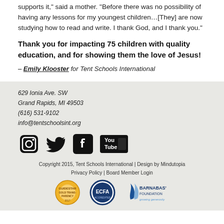supports it," said a mother. "Before there was no possibility of having any lessons for my youngest children…[They] are now studying how to read and write. I thank God, and I thank you."
Thank you for impacting 75 children with quality education, and for showing them the love of Jesus!
– Emily Klooster for Tent Schools International
629 Ionia Ave. SW
Grand Rapids, MI 49503
(616) 531-9102
info@tentschoolsint.org
[Figure (logo): Social media icons: Instagram, Twitter, Facebook, YouTube]
Copyright 2015, Tent Schools International | Design by Mindutopia
Privacy Policy | Board Member Login
[Figure (logo): Three logos: Guidestar Gold Transparency 2017, ECFA Accredited, Barnabas Foundation growing generosity]